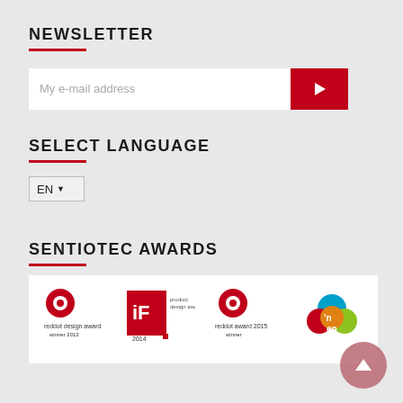NEWSLETTER
[Figure (screenshot): Email input field with red submit arrow button and language selector dropdown showing EN]
SELECT LANGUAGE
EN ▾
SENTIOTEC AWARDS
[Figure (logo): Awards strip showing: reddot design award winner 2013, iF product design award 2014, reddot award 2015 winner, neo award logo]